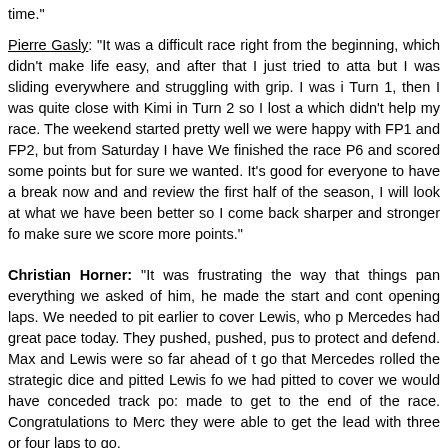time."
Pierre Gasly: "It was a difficult race right from the beginning, which didn't make life easy, and after that I just tried to attack but I was sliding everywhere and struggling with grip. I was in Turn 1, then I was quite close with Kimi in Turn 2 so I lost a which didn't help my race. The weekend started pretty well we were happy with FP1 and FP2, but from Saturday I have. We finished the race P6 and scored some points but for sure we wanted. It's good for everyone to have a break now and and review the first half of the season, I will look at what we have been better so I come back sharper and stronger fo make sure we score more points."
Christian Horner: "It was frustrating the way that things pan everything we asked of him, he made the start and cont opening laps. We needed to pit earlier to cover Lewis, who p Mercedes had great pace today. They pushed, pushed, pus to protect and defend. Max and Lewis were so far ahead of t go that Mercedes rolled the strategic dice and pitted Lewis fo we had pitted to cover we would have conceded track po: made to get to the end of the race. Congratulations to Merc they were able to get the lead with three or four laps to go.